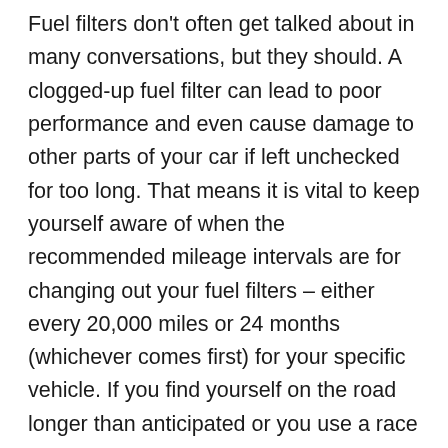Fuel filters don't often get talked about in many conversations, but they should. A clogged-up fuel filter can lead to poor performance and even cause damage to other parts of your car if left unchecked for too long. That means it is vital to keep yourself aware of when the recommended mileage intervals are for changing out your fuel filters – either every 20,000 miles or 24 months (whichever comes first) for your specific vehicle. If you find yourself on the road longer than anticipated or you use a race car, change it more often. This can save you a lot of money down the road and keep you from getting stranded on the side of the highway with a broken-down car.